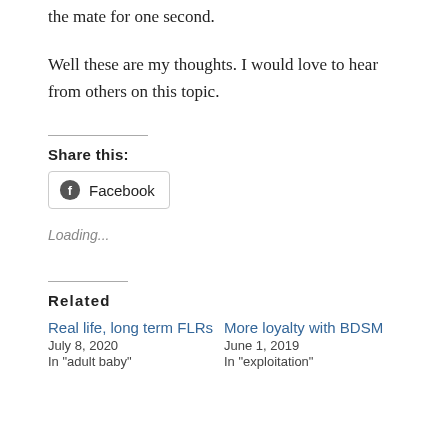the mate for one second.
Well these are my thoughts. I would love to hear from others on this topic.
Share this:
[Figure (other): Facebook share button with Facebook logo icon]
Loading...
Related
Real life, long term FLRs
July 8, 2020
In "adult baby"
More loyalty with BDSM
June 1, 2019
In "exploitation"